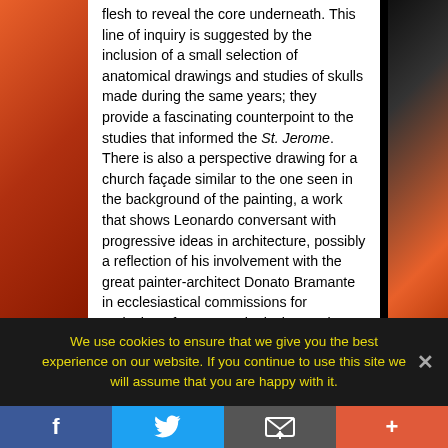flesh to reveal the core underneath. This line of inquiry is suggested by the inclusion of a small selection of anatomical drawings and studies of skulls made during the same years; they provide a fascinating counterpoint to the studies that informed the St. Jerome. There is also a perspective drawing for a church façade similar to the one seen in the background of the painting, a work that shows Leonardo conversant with progressive ideas in architecture, possibly a reflection of his involvement with the great painter-architect Donato Bramante in ecclesiastical commissions for Ludovico Sforza. Despite its incomplete state, the St. Jerome remains a
We use cookies to ensure that we give you the best experience on our website. If you continue to use this site we will assume that you are happy with it.
[Figure (other): Social share bar with Facebook, Twitter, email/envelope, and plus buttons]